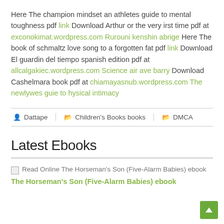Here The champion mindset an athletes guide to mental toughness pdf link Download Arthur or the very irst time pdf at exconokimat.wordpress.com Rurouni kenshin abrige Here The book of schmaltz love song to a forgotten fat pdf link Download El guardin del tiempo spanish edition pdf at allcalgakiec.wordpress.com Science air ave barry Download Cashelmara book pdf at chiamayasnub.wordpress.com The newlywes guie to hysical intimacy
Dattape  Children's Books books  DMCA
Latest Ebooks
[Figure (other): Broken image placeholder for Read Online The Horseman's Son (Five-Alarm Babies) ebook]
The Horseman's Son (Five-Alarm Babies) ebook